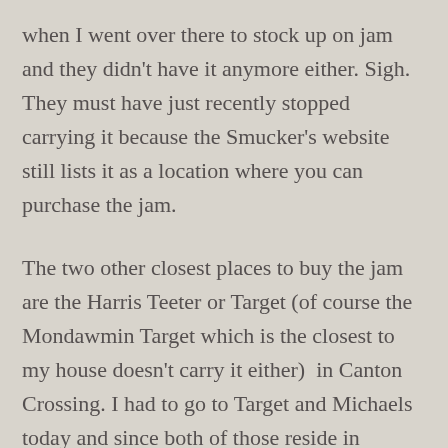when I went over there to stock up on jam and they didn't have it anymore either. Sigh. They must have just recently stopped carrying it because the Smucker's website still lists it as a location where you can purchase the jam.
The two other closest places to buy the jam are the Harris Teeter or Target (of course the Mondawmin Target which is the closest to my house doesn't carry it either)  in Canton Crossing. I had to go to Target and Michaels today and since both of those reside in Canton Crossing I decided to make the trek through the city over there so I could hit them both in one location. As